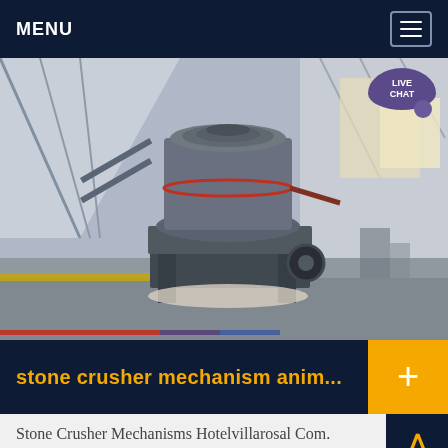MENU
[Figure (photo): Industrial stone crusher machine (cone crusher) on a factory/warehouse floor with large open space and steel roof structure. A 'LIVE CHAT' speech bubble button overlays the top-right corner of the image.]
stone crusher mechanism anim...
Stone Crusher Mechanisms Hotelvillarosal Com. stone crusher mechanism animation dec 2009, jaw crusher is a popular crushing equipment in the engineering sector. of used